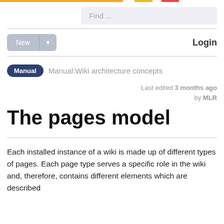Find ...
New | Login
Manual  Manual:Wiki architecture concepts
Last edited 3 months ago by MLR
The pages model
Each installed instance of a wiki is made up of different types of pages. Each page type serves a specific role in the wiki and, therefore, contains different elements which are described